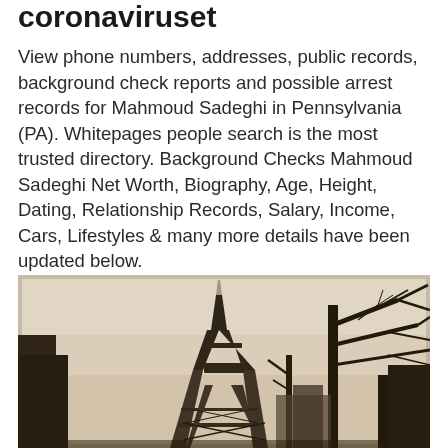coronaviruset
View phone numbers, addresses, public records, background check reports and possible arrest records for Mahmoud Sadeghi in Pennsylvania (PA). Whitepages people search is the most trusted directory. Background Checks Mahmoud Sadeghi Net Worth, Biography, Age, Height, Dating, Relationship Records, Salary, Income, Cars, Lifestyles & many more details have been updated below.
[Figure (photo): Sepia-toned photograph of the Eiffel Tower in Paris with bare winter trees in the foreground and background, foggy sky above.]